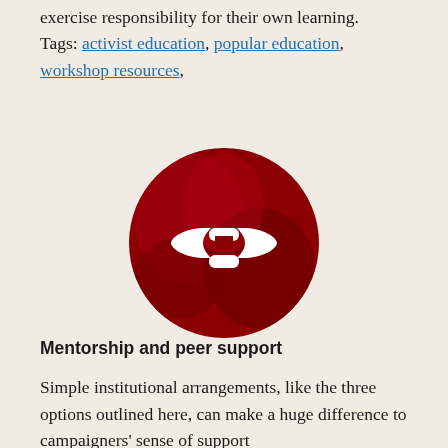exercise responsibility for their own learning. Tags: activist education, popular education, workshop resources,
[Figure (logo): Circular dark red logo with a white chain-link/arrow icon in the center, on a mottled red background]
Mentorship and peer support
Simple institutional arrangements, like the three options outlined here, can make a huge difference to campaigners' sense of support